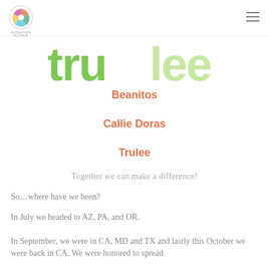AUTISM HOPE ALLIANCE / hamburger menu
[Figure (logo): Trulee brand logo in large green and light-green lettering]
Beanitos
Callie Doras
Trulee
Together we can make a difference!
So…where have we been?
In July we headed to AZ, PA, and OR.
In September, we were in CA, MD and TX and lastly this October we were back in CA. We were honored to spread